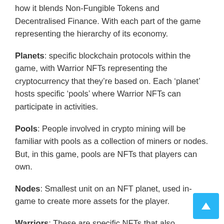how it blends Non-Fungible Tokens and Decentralised Finance. With each part of the game representing the hierarchy of its economy.
Planets: specific blockchain protocols within the game, with Warrior NFTs representing the cryptocurrency that they're based on. Each 'planet' hosts specific 'pools' where Warrior NFTs can participate in activities.
Pools: People involved in crypto mining will be familiar with pools as a collection of miners or nodes. But, in this game, pools are NFTs that players can own.
Nodes: Smallest unit on an NFT planet, used in-game to create more assets for the player.
Warriors: These are specific NFTs that also represents crypto. Warriors' are only named after